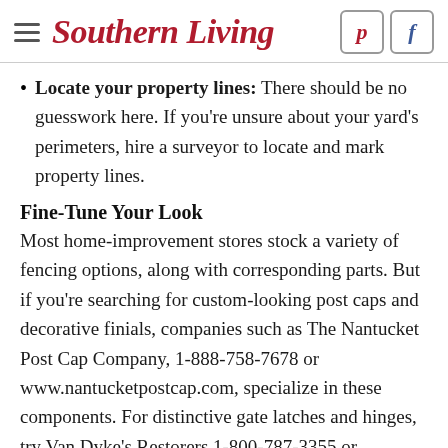Southern Living
Locate your property lines: There should be no guesswork here. If you're unsure about your yard's perimeters, hire a surveyor to locate and mark property lines.
Fine-Tune Your Look
Most home-improvement stores stock a variety of fencing options, along with corresponding parts. But if you're searching for custom-looking post caps and decorative finials, companies such as The Nantucket Post Cap Company, 1-888-758-7678 or www.nantucketpostcap.com, specialize in these components. For distinctive gate latches and hinges, try Van Dyke's Restorers,1-800-787-3355 or